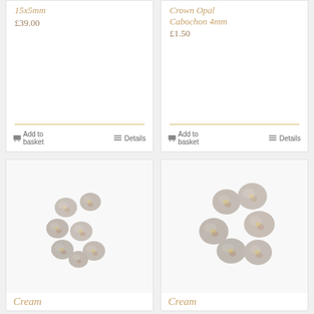15x5mm
£39.00
Add to basket
Details
Crown Opal Cabochon 4mm
£1.50
Add to basket
Details
[Figure (photo): Seven small opal cabochon gemstones arranged in a scattered pattern on a white background]
Cream
[Figure (photo): Six larger opal cabochon gemstones arranged in a scattered pattern on a light background]
Cream